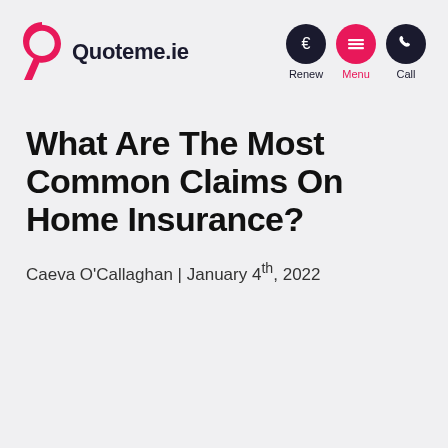Quoteme.ie — Renew | Menu | Call
What Are The Most Common Claims On Home Insurance?
Caeva O'Callaghan | January 4th, 2022